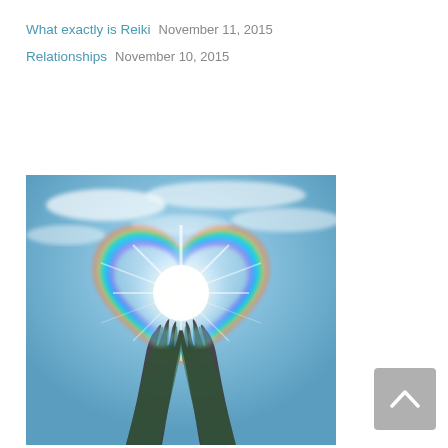What exactly is Reiki   November 11, 2015
Relationships   November 10, 2015
[Figure (photo): Two hands raised upward against a blue sky with clouds, forming a rainbow-colored heart shape above them with a bright white light burst at the center.]